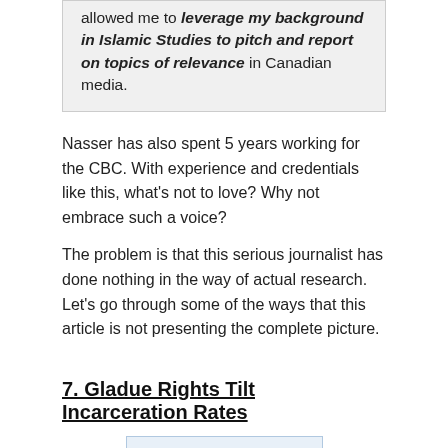allowed me to leverage my background in Islamic Studies to pitch and report on topics of relevance in Canadian media.
Nasser has also spent 5 years working for the CBC. With experience and credentials like this, what's not to love? Why not embrace such a voice?
The problem is that this serious journalist has done nothing in the way of actual research. Let's go through some of the ways that this article is not presenting the complete picture.
7. Gladue Rights Tilt Incarceration Rates
[Figure (other): Advertisement or image box showing the word 'Your' in large bold blue text on a light blue background, partially cropped at bottom of page.]